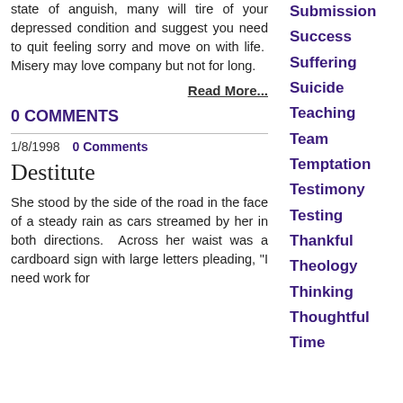state of anguish, many will tire of your depressed condition and suggest you need to quit feeling sorry and move on with life.  Misery may love company but not for long.
Read More...
0 COMMENTS
1/8/1998   0 Comments
Destitute
She stood by the side of the road in the face of a steady rain as cars streamed by her in both directions.  Across her waist was a cardboard sign with large letters pleading, "I need work for
Submission
Success
Suffering
Suicide
Teaching
Team
Temptation
Testimony
Testing
Thankful
Theology
Thinking
Thoughtful
Time